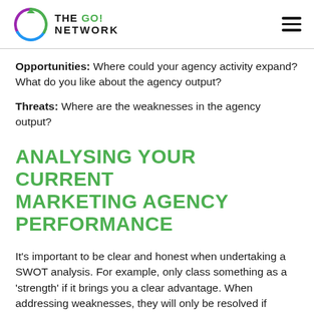THE GO! NETWORK
Opportunities: Where could your agency activity expand? What do you like about the agency output?
Threats: Where are the weaknesses in the agency output?
ANALYSING YOUR CURRENT MARKETING AGENCY PERFORMANCE
It’s important to be clear and honest when undertaking a SWOT analysis. For example, only class something as a ‘strength’ if it brings you a clear advantage. When addressing weaknesses, they will only be resolved if you’re honest about them. Don’t beat around the bush.